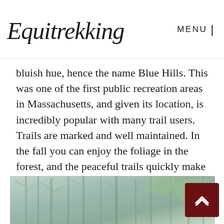Equitrekking  MENU |
bluish hue, hence the name Blue Hills. This was one of the first public recreation areas in Massachusetts, and given its location, is incredibly popular with many trail users. Trails are marked and well maintained. In the fall you can enjoy the foliage in the forest, and the peaceful trails quickly make you forget the proximity of the city.
[Figure (photo): A forest trail photo showing bare winter trees with some green foliage in the background, appearing slightly blurred or misty.]